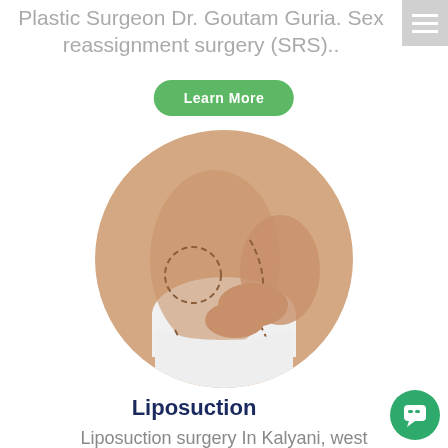Plastic Surgeon Dr. Goutam Guria. Sex reassignment surgery (SRS)..
[Figure (other): Green rounded button with white text 'Learn More']
[Figure (photo): Circular cropped photo of a person's torso and hips with dashed surgical marking lines drawn on the skin, wearing white underwear, with hands holding/pinching the waist area. Used to illustrate liposuction surgery.]
Liposuction
Liposuction surgery In Kalyani, west
[Figure (other): Green circular chat/messenger button in bottom right corner with a speech bubble icon]